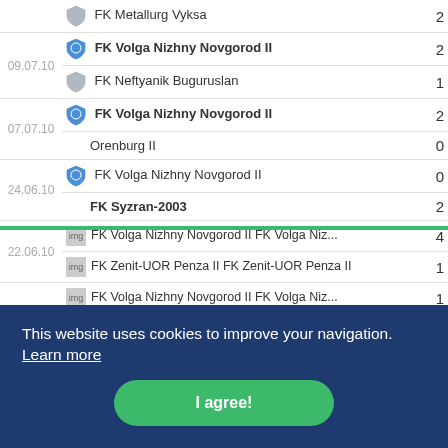| Date | Team | Score |
| --- | --- | --- |
|  | FK Metallurg Vyksa | 2 |
| 09.07.10 | FK Volga Nizhny Novgorod II | 2 |
| 09.07.10 | FK Neftyanik Buguruslan | 1 |
| 07.07.10 | FK Volga Nizhny Novgorod II | 2 |
| 07.07.10 | Orenburg II | 0 |
| 24.06.10 | FK Volga Nizhny Novgorod II | 0 |
| 24.06.10 | FK Syzran-2003 | 2 |
| 22.06.10 | FK Volga Nizhny Novgorod II FK Volga Niz... | 4 |
| 22.06.10 | FK Zenit-UOR Penza II FK Zenit-UOR Penza II | 1 |
| 08.06.10 | FK Volga Nizhny Novgorod II FK Volga Niz... | 1 |
| 08.06.10 | Volga Ulyanovsk II Volga Ulyanovsk II | 0 |
| 02.06.10 | FK Volga Nizhny Novgorod II FK Volga Nizh... | 0 |
| 02.06.10 | No team logo FK Zelenodolsk | 1 |
|  |  | 3 |
|  |  | 1 |
|  |  | 0 |
|  |  | 0 |
This website uses cookies to improve your navigation. Learn more